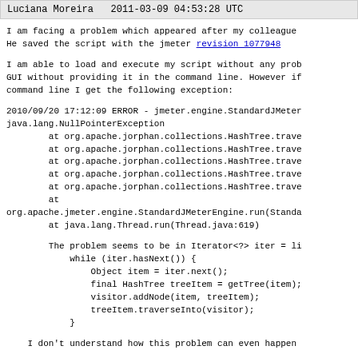Luciana Moreira   2011-03-09 04:53:28 UTC
I am facing a problem which appeared after my colleague He saved the script with the jmeter revision 1077948
I am able to load and execute my script without any prob GUI without providing it in the command line. However if command line I get the following exception:
2010/09/20 17:12:09 ERROR - jmeter.engine.StandardJMeter java.lang.NullPointerException
        at org.apache.jorphan.collections.HashTree.trave
        at org.apache.jorphan.collections.HashTree.trave
        at org.apache.jorphan.collections.HashTree.trave
        at org.apache.jorphan.collections.HashTree.trave
        at org.apache.jorphan.collections.HashTree.trave
        at
org.apache.jmeter.engine.StandardJMeterEngine.run(Standa
        at java.lang.Thread.run(Thread.java:619)
The problem seems to be in Iterator<?> iter = li
            while (iter.hasNext()) {
                Object item = iter.next();
                final HashTree treeItem = getTree(item);
                visitor.addNode(item, treeItem);
                treeItem.traverseInto(visitor);
            }
I don't understand how this problem can even happen